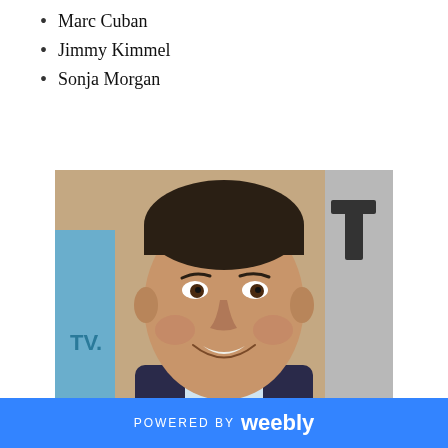Marc Cuban
Jimmy Kimmel
Sonja Morgan
[Figure (photo): Headshot photo of Marc Cuban smiling, wearing a dark suit and light blue shirt, at an event with a TV network banner in the background]
POWERED BY weebly